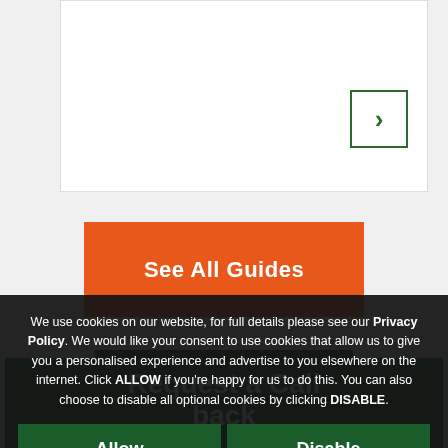[Figure (screenshot): White card panel with a green right-arrow navigation button in the upper right area]
See All Guides
Request a Call back
We use cookies on our website, for full details please see our Privacy Policy. We would like your consent to use cookies that allow us to give you a personalised experience and advertise to you elsewhere on the internet. Click ALLOW if you're happy for us to do this. You can also choose to disable all optional cookies by clicking DISABLE.
Allow
Disable